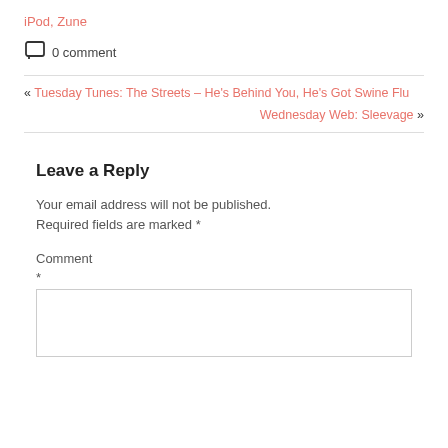iPod, Zune
0 comment
« Tuesday Tunes: The Streets – He's Behind You, He's Got Swine Flu
Wednesday Web: Sleevage »
Leave a Reply
Your email address will not be published. Required fields are marked *
Comment
*